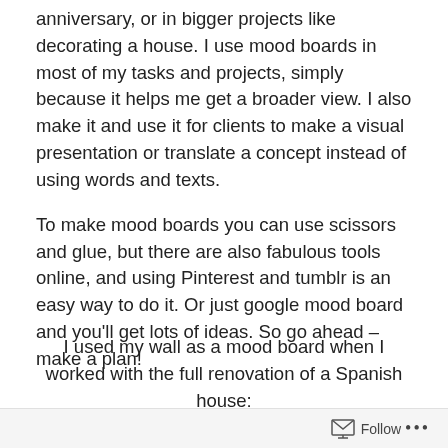anniversary, or in bigger projects like decorating a house. I use mood boards in most of my tasks and projects, simply because it helps me get a broader view. I also make it and use it for clients to make a visual presentation or translate a concept instead of using words and texts.
To make mood boards you can use scissors and glue, but there are also fabulous tools online, and using Pinterest and tumblr is an easy way to do it. Or just google mood board and you'll get lots of ideas. So go ahead – make a plan!
I used my wall as a mood board when I worked with the full renovation of a Spanish house:
Follow ...